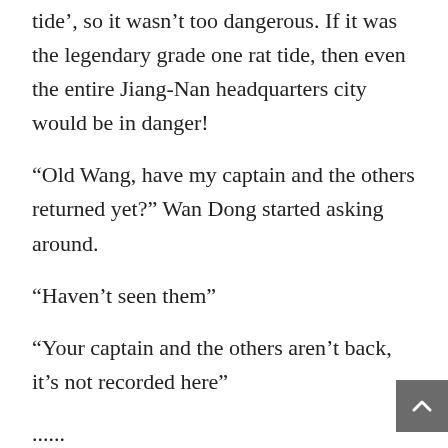tide', so it wasn't too dangerous. If it was the legendary grade one rat tide, then even the entire Jiang-Nan headquarters city would be in danger!
“Old Wang, have my captain and the others returned yet?” Wan Dong started asking around.
“Haven’t seen them”
“Your captain and the others aren’t back, it’s not recorded here”
......
Today was a sad day for the resupplying base. Quite a few fighters lost their lives. As for the three wargods that